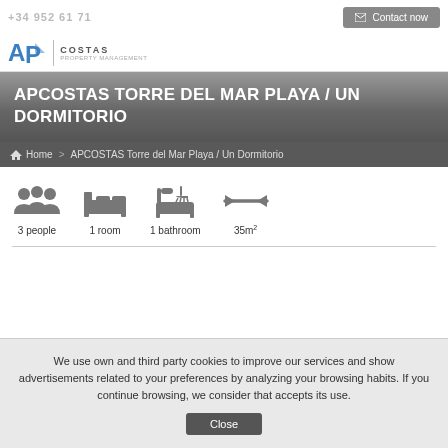Contact now
[Figure (logo): AP COSTAS Property Management logo with blue AP letters and text]
APCOSTAS TORRE DEL MAR PLAYA / UN DORMITORIO
Home > APCOSTAS Torre del Mar Playa / Un Dormitorio
[Figure (infographic): 4 icons: 3 people, 1 room, 1 bathroom, 35m2]
3 people  1 room  1 bathroom  35m2
We use own and third party cookies to improve our services and show advertisements related to your preferences by analyzing your browsing habits. If you continue browsing, we consider that accepts its use.